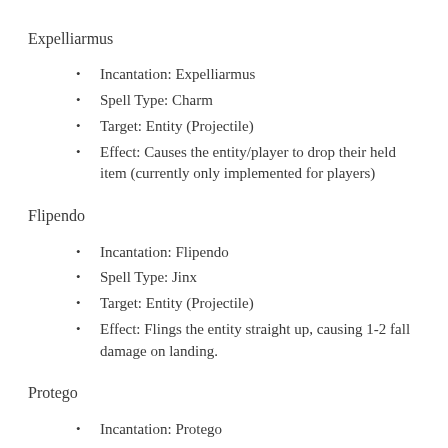Expelliarmus
Incantation: Expelliarmus
Spell Type: Charm
Target: Entity (Projectile)
Effect: Causes the entity/player to drop their held item (currently only implemented for players)
Flipendo
Incantation: Flipendo
Spell Type: Jinx
Target: Entity (Projectile)
Effect: Flings the entity straight up, causing 1-2 fall damage on landing.
Protego
Incantation: Protego